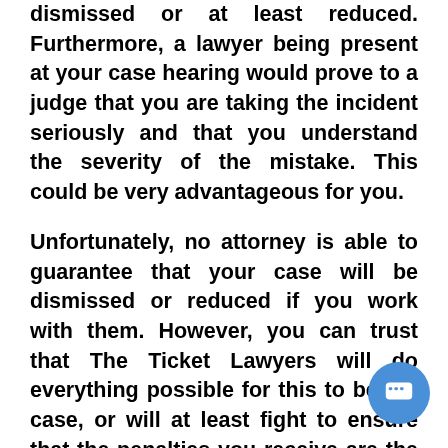dismissed or at least reduced. Furthermore, a lawyer being present at your case hearing would prove to a judge that you are taking the incident seriously and that you understand the severity of the mistake. This could be very advantageous for you.
Unfortunately, no attorney is able to guarantee that your case will be dismissed or reduced if you work with them. However, you can trust that The Ticket Lawyers will do everything possible for this to be the case, or will at least fight to ensure that the penalties you receive are the most lenient ones possible. An attorney would give you the best chance at being offered the opportunity to attend traffic school,